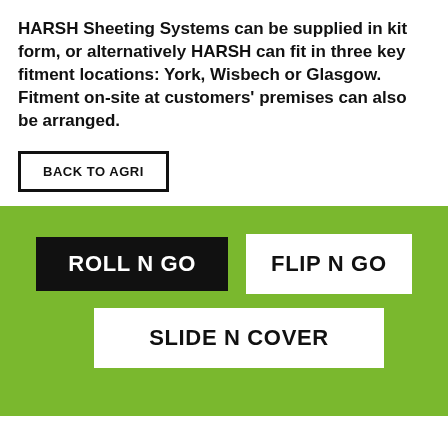HARSH Sheeting Systems can be supplied in kit form, or alternatively HARSH can fit in three key fitment locations: York, Wisbech or Glasgow. Fitment on-site at customers' premises can also be arranged.
BACK TO AGRI
[Figure (infographic): Green banner section with navigation buttons: ROLL N GO (black filled), FLIP N GO (white outlined), SLIDE N COVER (white outlined), with a green downward arrow below]
Roll N Go